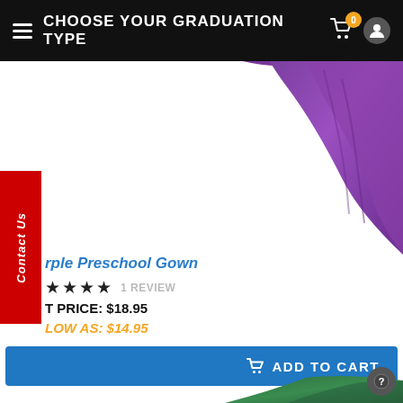CHOOSE YOUR GRADUATION TYPE
[Figure (photo): Purple preschool graduation gown hanging, showing fabric drape]
rple Preschool Gown
★★★★ 1 REVIEW
T PRICE: $18.95
LOW AS: $14.95
ADD TO CART
[Figure (photo): Green graduation gown hanging, showing fabric and collar]